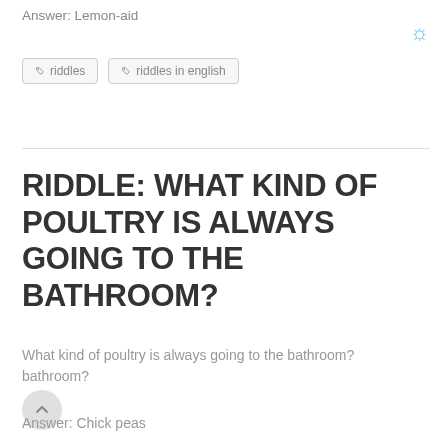Answer: Lemon-aid
riddles
riddles in english
RIDDLE: WHAT KIND OF POULTRY IS ALWAYS GOING TO THE BATHROOM?
What kind of poultry is always going to the bathroom?
Answer: Chick peas